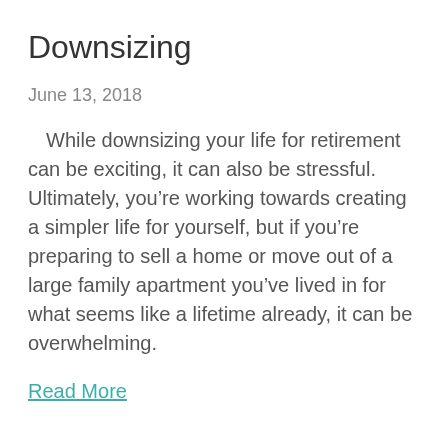Downsizing
June 13, 2018
While downsizing your life for retirement can be exciting, it can also be stressful. Ultimately, you’re working towards creating a simpler life for yourself, but if you’re preparing to sell a home or move out of a large family apartment you’ve lived in for what seems like a lifetime already, it can be overwhelming.
Read More